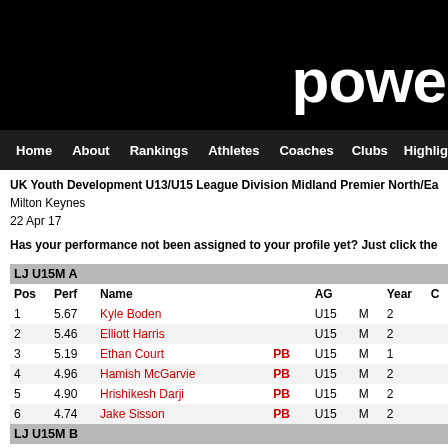powe
Home  About  Rankings  Athletes  Coaches  Clubs  Highlight
UK Youth Development U13/U15 League Division Midland Premier North/Ea
Milton Keynes
22 Apr 17
Has your performance not been assigned to your profile yet? Just click the
| Pos | Perf | Name |  | AG |  | Year |  |
| --- | --- | --- | --- | --- | --- | --- | --- |
| LJ U15M A |  |  |  |  |  |  |  |
| 1 | 5.67 | Kyle Boden |  | U15 | M | 2 |  |
| 2 | 5.46 | Elliott Harris |  | U15 | M | 2 |  |
| 3 | 5.19 | Ethan Court | PB | U15 | M | 1 |  |
| 4 | 4.96 | Hamish McGarvie | PB | U15 | M | 2 |  |
| 5 | 4.90 | Hrishikesh Darji | PB | U15 | M | 2 |  |
| 6 | 4.74 | Jake Sisson | PB | U15 | M | 2 |  |
| LJ U15M B |  |  |  |  |  |  |  |